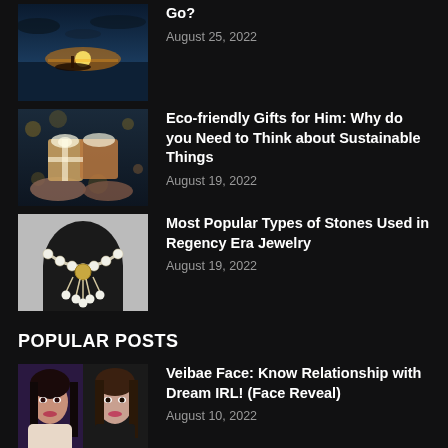[Figure (photo): A boat on a body of water at sunset with dramatic sky]
Go?
August 25, 2022
[Figure (photo): Hands holding decorated gift boxes with bokeh lights in background]
Eco-friendly Gifts for Him: Why do you Need to Think about Sustainable Things
August 19, 2022
[Figure (photo): A pearl and gold necklace on a black jewelry display bust]
Most Popular Types of Stones Used in Regency Era Jewelry
August 19, 2022
POPULAR POSTS
[Figure (photo): Two photos of a young woman with dark hair — Veibae face reveal]
Veibae Face: Know Relationship with Dream IRL! (Face Reveal)
August 10, 2022